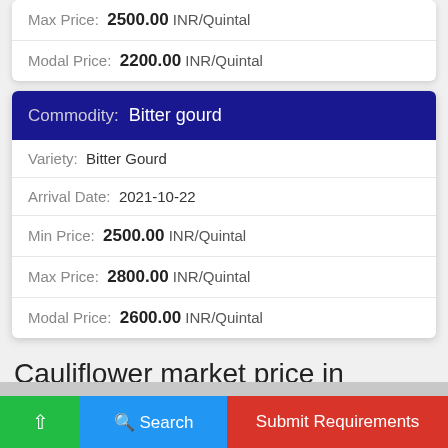| Max Price: | 2500.00 INR/Quintal |
| Modal Price: | 2200.00 INR/Quintal |
| Commodity: Bitter gourd |
| --- |
| Variety: | Bitter Gourd |
| Arrival Date: | 2021-10-22 |
| Min Price: | 2500.00 INR/Quintal |
| Max Price: | 2800.00 INR/Quintal |
| Modal Price: | 2600.00 INR/Quintal |
Cauliflower market price in Dhari(Chalala)
↑  Search  Submit Requirements